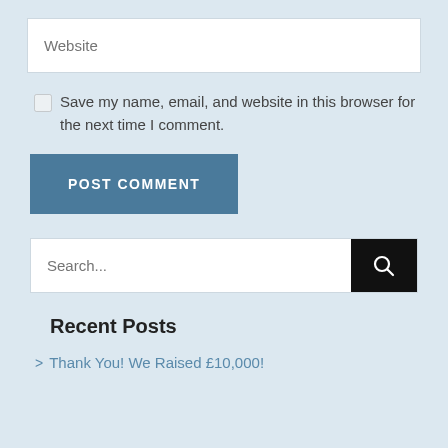Website (input placeholder)
Save my name, email, and website in this browser for the next time I comment.
POST COMMENT
Search...
Recent Posts
> Thank You! We Raised £10,000!